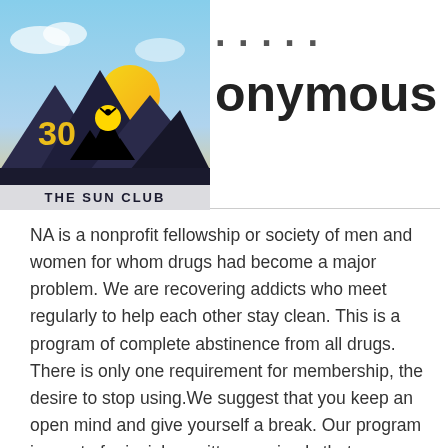[Figure (logo): The Sun Club logo with 30th anniversary badge, featuring mountains and sun graphic with text 'THE SUN CLUB']
...onymous
NA is a nonprofit fellowship or society of men and women for whom drugs had become a major problem. We are recovering addicts who meet regularly to help each other stay clean. This is a program of complete abstinence from all drugs. There is only one requirement for membership, the desire to stop using.We suggest that you keep an open mind and give yourself a break. Our program is a set of principles written so simply that we can follow them in our daily lives. The most important thing about them is that they work.